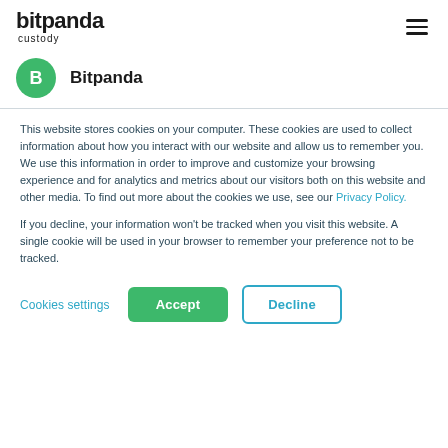bitpanda custody
[Figure (logo): Bitpanda green circle icon with letter B, followed by bold text 'Bitpanda']
This website stores cookies on your computer. These cookies are used to collect information about how you interact with our website and allow us to remember you. We use this information in order to improve and customize your browsing experience and for analytics and metrics about our visitors both on this website and other media. To find out more about the cookies we use, see our Privacy Policy.
If you decline, your information won't be tracked when you visit this website. A single cookie will be used in your browser to remember your preference not to be tracked.
Cookies settings  Accept  Decline